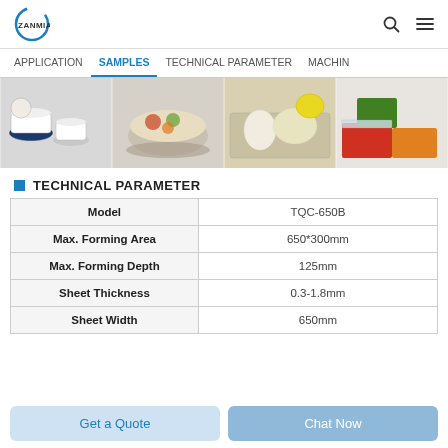ZANMIAO
APPLICATION   SAMPLES   TECHNICAL PARAMETER   MACHIN
[Figure (photo): Four image panels showing food containers and tableware: cups and saucers, bowls with salads, a tray with eggs, and red/green/orange food storage boxes.]
TECHNICAL PARAMETER
| Parameter | Value |
| --- | --- |
| Model | TQC-650B |
| Max. Forming Area | 650*300mm |
| Max. Forming Depth | 125mm |
| Sheet Thickness | 0.3-1.8mm |
| Sheet Width | 650mm |
Get a Quote   Chat Now